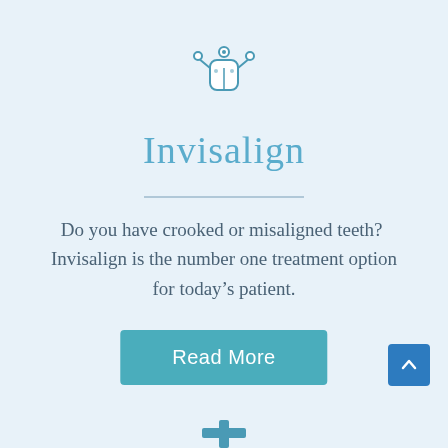[Figure (illustration): Dental/tooth icon with robotic or tech styling, circular elements around a tooth shape, in blue tones]
Invisalign
Do you have crooked or misaligned teeth?  Invisalign is the number one treatment option for today's patient.
[Figure (other): Read More button in teal/blue color]
[Figure (other): Scroll to top arrow button, dark blue square with upward chevron]
[Figure (other): Partial blue cross/plus icon at bottom center, partially visible]